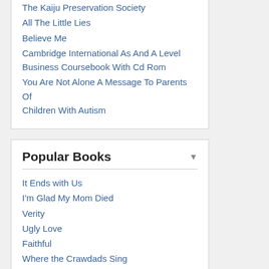The Kaiju Preservation Society
All The Little Lies
Believe Me
Cambridge International As And A Level Business Coursebook With Cd Rom
You Are Not Alone A Message To Parents Of Children With Autism
Popular Books
It Ends with Us
I'm Glad My Mom Died
Verity
Ugly Love
Faithful
Where the Crawdads Sing
Overkill
All Good People Here
The 6:20 Man